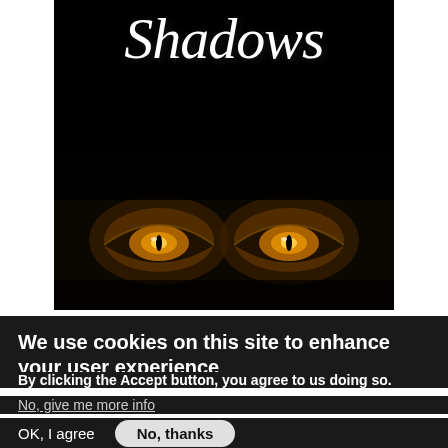[Figure (illustration): Book cover with black background showing the word 'Shadows' in large white italic script font, author name 'BY MATTHEW TAYLOR' in bold white sans-serif text inside a white border box, and glowing golden demonic eyes in the lower portion of the cover.]
We use cookies on this site to enhance your user experience
By clicking the Accept button, you agree to us doing so.
No, give me more info
OK, I agree
No, thanks